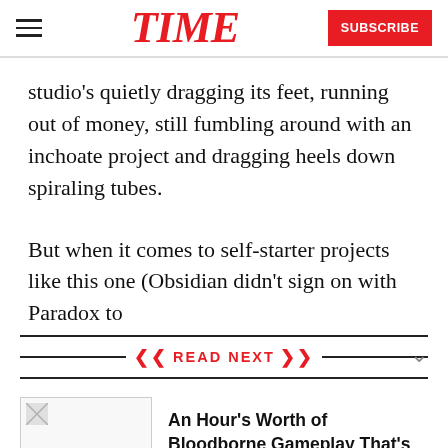TIME | SUBSCRIBE
studio's quietly dragging its feet, running out of money, still fumbling around with an inchoate project and dragging heels down spiraling tubes.
But when it comes to self-starter projects like this one (Obsidian didn't sign on with Paradox to
READ NEXT
An Hour's Worth of Bloodborne Gameplay That's Kind of Amazing